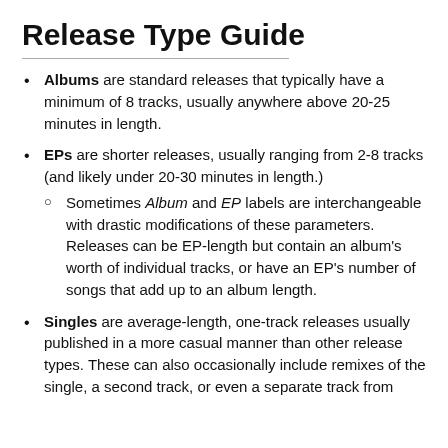Release Type Guide
Albums are standard releases that typically have a minimum of 8 tracks, usually anywhere above 20-25 minutes in length.
EPs are shorter releases, usually ranging from 2-8 tracks (and likely under 20-30 minutes in length.) Sometimes Album and EP labels are interchangeable with drastic modifications of these parameters. Releases can be EP-length but contain an album's worth of individual tracks, or have an EP's number of songs that add up to an album length.
Singles are average-length, one-track releases usually published in a more casual manner than other release types. These can also occasionally include remixes of the single, a second track, or even a separate track from